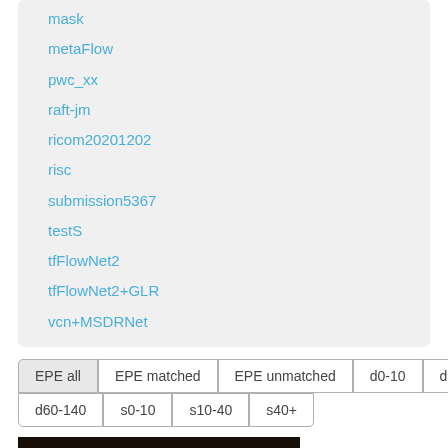mask
metaFlow
pwc_xx
raft-jm
ricom20201202
risc
submission5367
testS
tfFlowNet2
tfFlowNet2+GLR
vcn+MSDRNet
EPE all | EPE matched | EPE unmatched | d0-10 | d10-60 | d60-140 | s0-10 | s10-40 | s40+
[Figure (photo): Dark indoor scene with red/orange glowing light sources, people or objects silhouetted in a dim workshop or industrial setting]